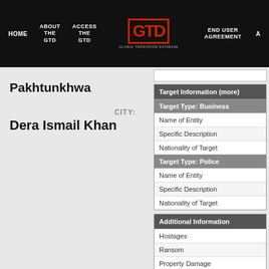HOME | ABOUT THE GTD | ACCESS THE GTD | GTD Logo | END USER AGREEMENT
Pakhtunkhwa
CITY: Dera Ismail Khan
| Target Information (more) |
| --- |
| Target Type: Business |
| Name of Entity |
| Specific Description |
| Nationality of Target |
| Target Type: Police |
| Name of Entity |
| Specific Description |
| Nationality of Target |
| Additional Information |
| --- |
| Hostages |
| Ransom |
| Property Damage |
| Extent of Property Damage |
| Value of Property Damage |